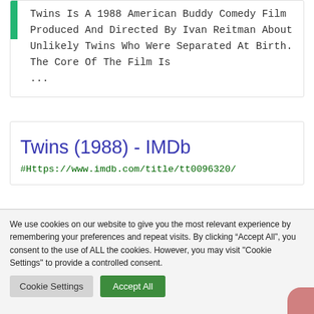Twins Is A 1988 American Buddy Comedy Film Produced And Directed By Ivan Reitman About Unlikely Twins Who Were Separated At Birth. The Core Of The Film Is ...
Twins (1988) - IMDb
#Https://www.imdb.com/title/tt0096320/
We use cookies on our website to give you the most relevant experience by remembering your preferences and repeat visits. By clicking “Accept All”, you consent to the use of ALL the cookies. However, you may visit "Cookie Settings" to provide a controlled consent.
Cookie Settings
Accept All